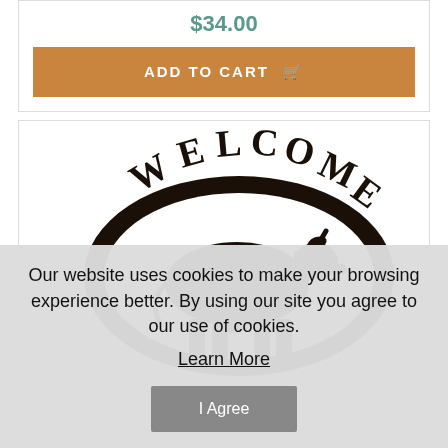$34.00
ADD TO CART
[Figure (photo): Metal welcome sign with cow silhouette inside an oval frame, with WELCOME text arching over the top]
Our website uses cookies to make your browsing experience better. By using our site you agree to our use of cookies.
Learn More
I Agree